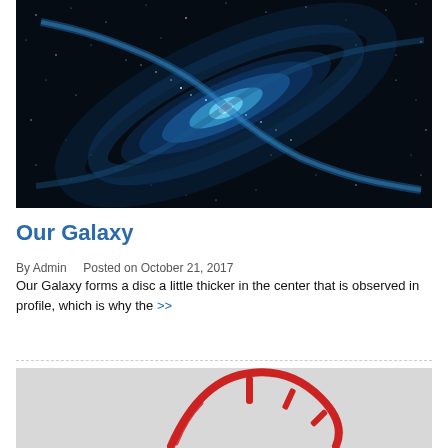[Figure (photo): Spiral galaxy image viewed from above, showing blue-white glowing core and spiral arms against a dark star-filled background]
Our Galaxy
By Admin    Posted on October 21, 2017
Our Galaxy forms a disc a little thicker in the center that is observed in profile, which is why the >>
[Figure (illustration): Partial red circular/arc logo or illustration on a light grey background, showing curved red lines and tick marks resembling a speedometer or circular symbol]